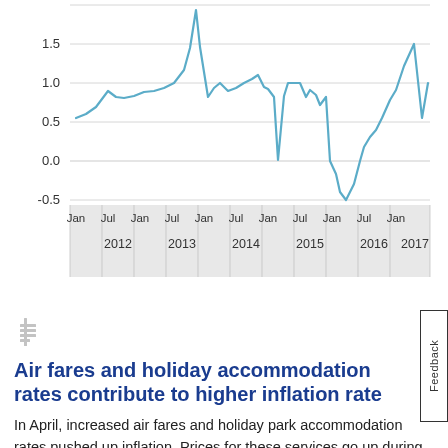[Figure (line-chart): ]
Air fares and holiday accommodation rates contribute to higher inflation rate
In April, increased air fares and holiday park accommodation rates pushed up inflation. Prices for these services go up during public holidays and holiday periods. Not only did Easter fall in April and not in March like last year, but at the